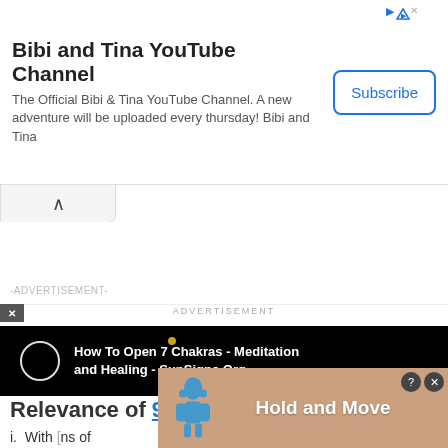[Figure (screenshot): Top advertisement banner for Bibi and Tina YouTube Channel with Subscribe button]
-ADVERTISEMENT-
ADVERTISEMENT
[Figure (screenshot): Black video player bar showing 'How To Open 7 Chakras - Meditation and Healing - SunSigns.Org' with a circular play icon and a small yellow dot]
Relevance of 924
i.  With [obscured] ns of abund[ance]